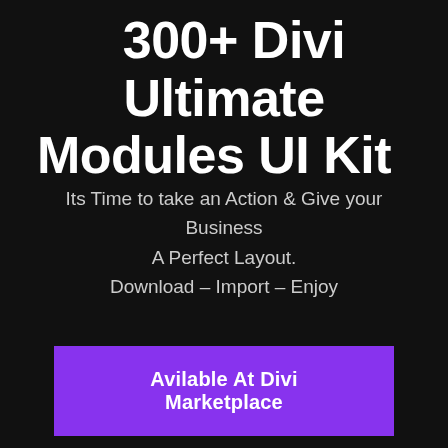300+ Divi Ultimate Modules UI Kit
Its Time to take an Action & Give your Business A Perfect Layout.
Download – Import – Enjoy
Avilable At Divi Marketplace